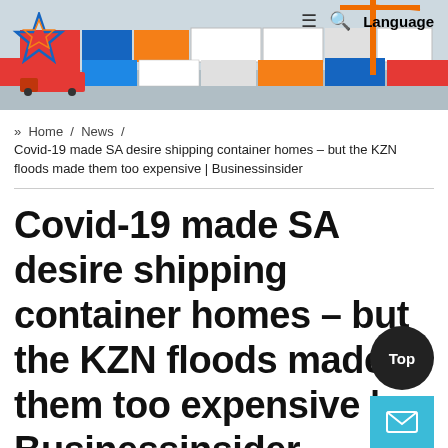[Figure (photo): Header image showing aerial view of a shipping container port with trucks, cranes, and colorful containers. Navigation bar overlaid with hamburger menu, search icon, and Language label.]
» Home / News / Covid-19 made SA desire shipping container homes – but the KZN floods made them too expensive | Businessinsider
Covid-19 made SA desire shipping container homes – but the KZN floods made them too expensive | Businessinsider